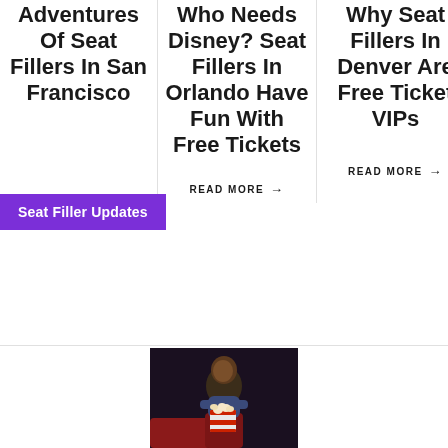Adventures Of Seat Fillers In San Francisco
Who Needs Disney? Seat Fillers In Orlando Have Fun With Free Tickets
READ MORE →
Why Seat Fillers In Denver Are Free Ticket VIPs
READ MORE →
Seat Filler Updates
[Figure (photo): Person eating popcorn at what appears to be a movie theater or entertainment venue]